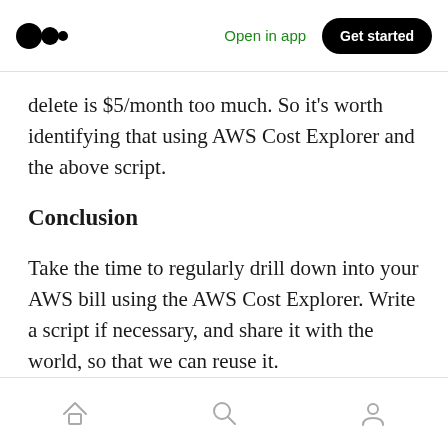Medium — Open in app  Get started
delete is $5/month too much. So it's worth identifying that using AWS Cost Explorer and the above script.
Conclusion
Take the time to regularly drill down into your AWS bill using the AWS Cost Explorer. Write a script if necessary, and share it with the world, so that we can reuse it.
• • •